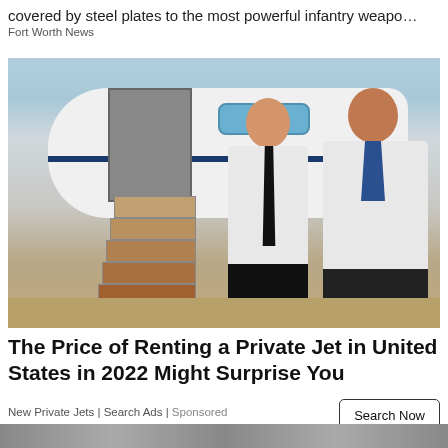covered by steel plates to the most powerful infantry weapo…
Fort Worth News
[Figure (photo): A pilot in white uniform shirt with black tie and epaulettes, and a female flight attendant in white shirt with blue scarf, standing in front of a white private jet with open door and stairs on a tarmac.]
The Price of Renting a Private Jet in United States in 2022 Might Surprise You
New Private Jets | Search Ads | Sponsored
Search Now